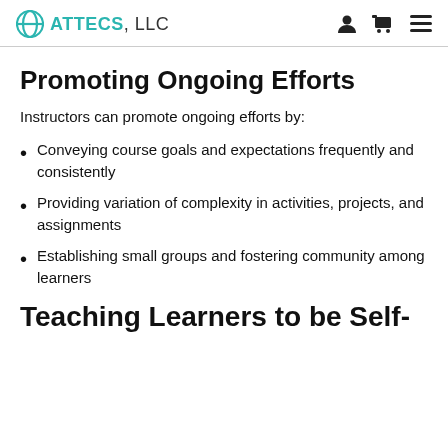ATTECS, LLC
Promoting Ongoing Efforts
Instructors can promote ongoing efforts by:
Conveying course goals and expectations frequently and consistently
Providing variation of complexity in activities, projects, and assignments
Establishing small groups and fostering community among learners
Teaching Learners to be Self-